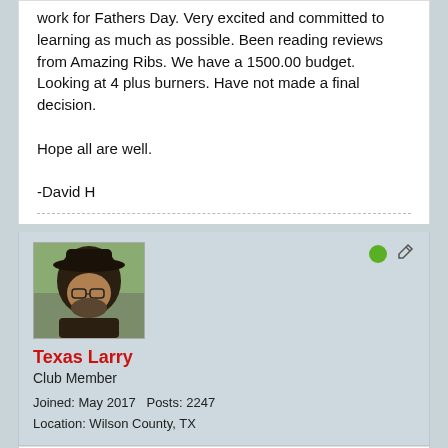work for Fathers Day. Very excited and committed to learning as much as possible. Been reading reviews from Amazing Ribs. We have a 1500.00 budget. Looking at 4 plus burners. Have not made a final decision.

Hope all are well.

-David H
[Figure (photo): Profile photo of a man wearing a dark cowboy hat and glasses, outdoors with trees in background]
Texas Larry
Club Member
Joined: May 2017   Posts: 2247
Location: Wilson County, TX
June 14, 2020, 10:40 AM
Top | #8
Welcome from north Texas! Glad you joined...